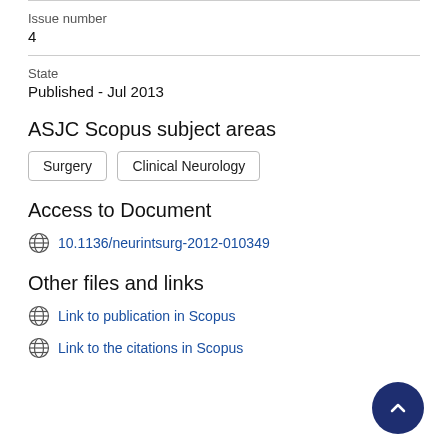Issue number
4
State
Published - Jul 2013
ASJC Scopus subject areas
Surgery
Clinical Neurology
Access to Document
10.1136/neurintsurg-2012-010349
Other files and links
Link to publication in Scopus
Link to the citations in Scopus